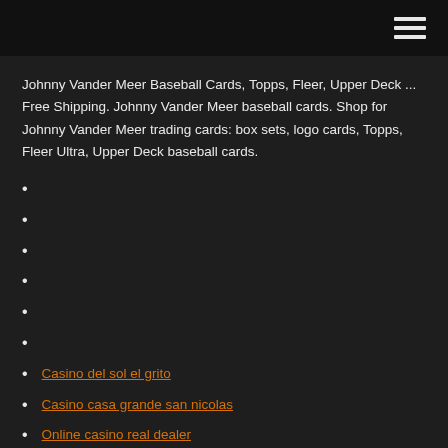Johnny Vander Meer Baseball Cards, Topps, Fleer, Upper Deck ... Free Shipping. Johnny Vander Meer baseball cards. Shop for Johnny Vander Meer trading cards: box sets, logo cards, Topps, Fleer Ultra, Upper Deck baseball cards.
Casino del sol el grito
Casino casa grande san nicolas
Online casino real dealer